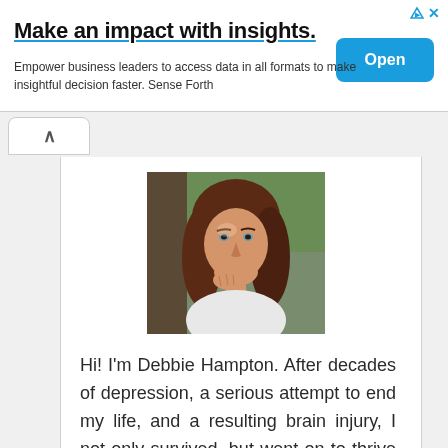[Figure (infographic): Advertisement banner: Make an impact with insights. Empower business leaders to access data in all formats to make insightful decision faster. Sense Forth. With an Open button.]
[Figure (photo): Portrait photo of a woman with brown hair, smiling, resting chin on hand, outdoors with tree trunk in background.]
Hi! I'm Debbie Hampton. After decades of depression, a serious attempt to end my life, and a resulting brain injury, I not only survived, but went on to thrive by